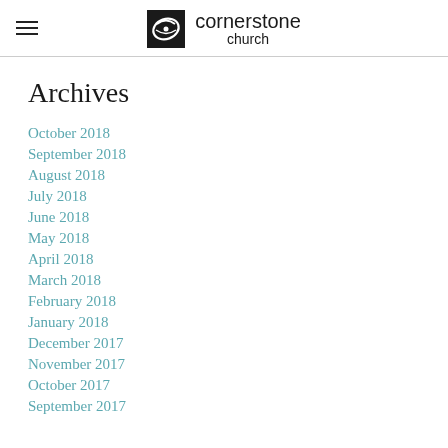cornerstone church
Archives
October 2018
September 2018
August 2018
July 2018
June 2018
May 2018
April 2018
March 2018
February 2018
January 2018
December 2017
November 2017
October 2017
September 2017